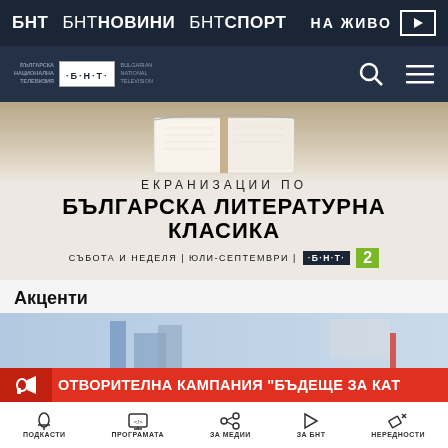БНТ  БНТ НОВИНИ  БНТ СПОРТ  НА ЖИВО
[Figure (logo): БНТ Bulgarian National Television logo with search and menu icons]
[Figure (illustration): Banner: ЕКРАНИЗАЦИИ ПО БЪЛГАРСКА ЛИТЕРАТУРНА КЛАСИКА. СЪБОТА И НЕДЕЛЯ | ЮЛИ-СЕПТЕМВРИ | БНТ 2. Open book image on top.]
Акценти
[Figure (screenshot): News article thumbnail with blue architectural graphics]
ОТВОРИТЕЛНА КАМПАНИЯ "БЪДЕЩЕ ЗА КАТ
ПОДКАСТИ  ПРОГРАМАТА  ЗА МЕДИИ  ЗА БНТ  НЕРЕДНОСТИ